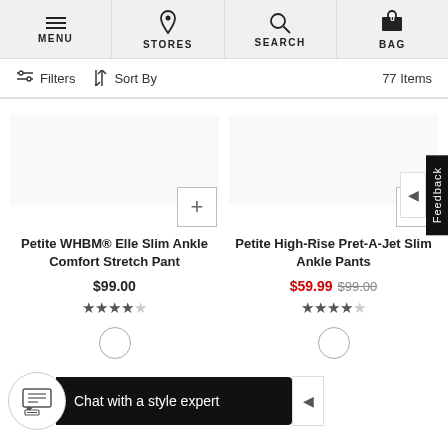MENU | STORES | SEARCH | BAG (0)
Filters  Sort By  77 Items
[Figure (screenshot): Product listing showing two petite pants products with add buttons]
Petite WHBM® Elle Slim Ankle Comfort Stretch Pant
$99.00
4 out of 5 stars
Petite High-Rise Pret-A-Jet Slim Ankle Pants
$59.99 $99.00
3.5 out of 5 stars
Chat with a style expert